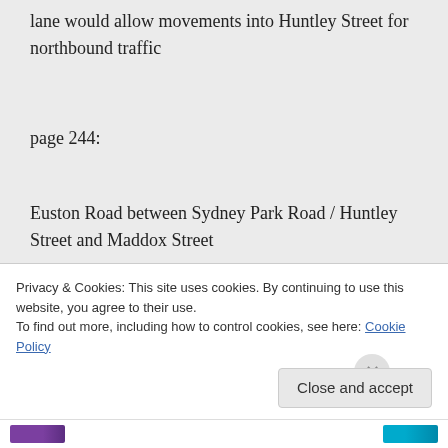lane would allow movements into Huntley Street for northbound traffic
page 244:
Euston Road between Sydney Park Road / Huntley Street and Maddox Street
North of the intersection with Sydney Park Road / Huntley Street, Euston Road would be widened to provide single turning lanes at Sydney Park Road / Huntley Street and
Privacy & Cookies: This site uses cookies. By continuing to use this website, you agree to their use.
To find out more, including how to control cookies, see here: Cookie Policy